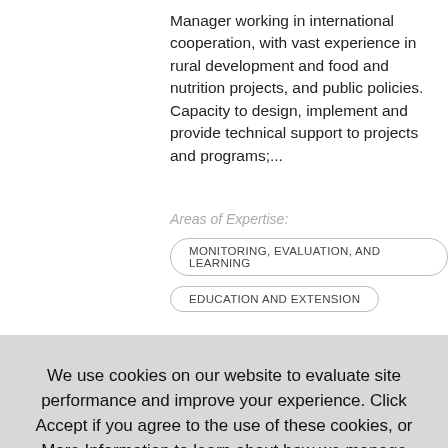Manager working in international cooperation, with vast experience in rural development and food and nutrition projects, and public policies. Capacity to design, implement and provide technical support to projects and programs;...
Areas of Expertise:
MONITORING, EVALUATION, AND LEARNING
EDUCATION AND EXTENSION
We use cookies on our website to evaluate site performance and improve your experience. Click Accept if you agree to the use of these cookies, or More Information to learn about how we manage information on our site.
Accept
More information